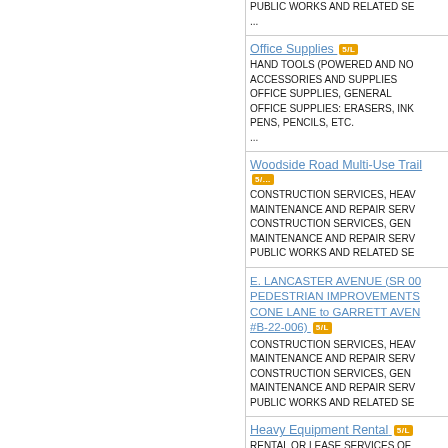PUBLIC WORKS AND RELATED SE...
...
Office Supplies [5/L]
HAND TOOLS (POWERED AND NO...
ACCESSORIES AND SUPPLIES
OFFICE SUPPLIES, GENERAL
OFFICE SUPPLIES: ERASERS, INK...
PENS, PENCILS, ETC.
...
Woodside Road Multi-Use Trail [5/...]
CONSTRUCTION SERVICES, HEAV...
MAINTENANCE AND REPAIR SERV...
CONSTRUCTION SERVICES, GEN...
MAINTENANCE AND REPAIR SERV...
PUBLIC WORKS AND RELATED SE...
E. LANCASTER AVENUE (SR 00...
PEDESTRIAN IMPROVEMENTS...
CONE LANE to GARRETT AVEN...
#B-22-006) [5/L]
CONSTRUCTION SERVICES, HEAV...
MAINTENANCE AND REPAIR SERV...
CONSTRUCTION SERVICES, GEN...
MAINTENANCE AND REPAIR SERV...
PUBLIC WORKS AND RELATED SE...
Heavy Equipment Rental [5/L]
RENTAL OR LEASE SERVICES OF ...
AGRICULTURAL, AIRCRAFT, AIRPO...
AUTOMOTIVE, MARINE, AND HEAV...
EQUIPMENT
RENTAL OR LEASE OF GENERAL ...
(HVAC, ATHLETIC, FIRE AND POLI...